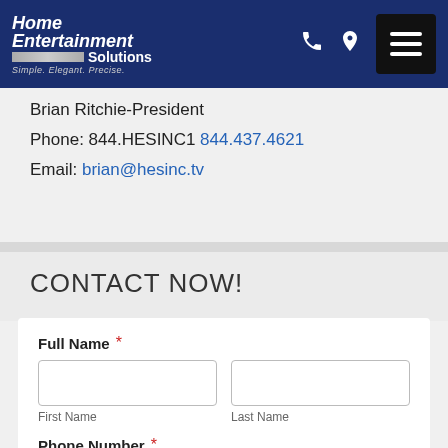[Figure (logo): Home Entertainment Solutions logo with tagline 'Simple. Elegant. Precise.' on dark blue header bar with phone icon, location pin icon, and hamburger menu button]
Brian Ritchie-President
Phone: 844.HESINC1 844.437.4621
Email: brian@hesinc.tv
CONTACT NOW!
Full Name *
First Name
Last Name
Phone Number *